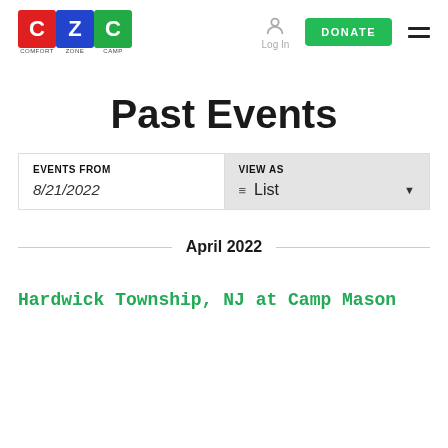[Figure (logo): Comfort Zone Camp logo with three colored blocks: red C, blue Z, green C, with labels COMFORT ZONE CAMP below]
Log In
DONATE
Past Events
EVENTS FROM
8/21/2022
VIEW AS
List
April 2022
Hardwick Township, NJ at Camp Mason